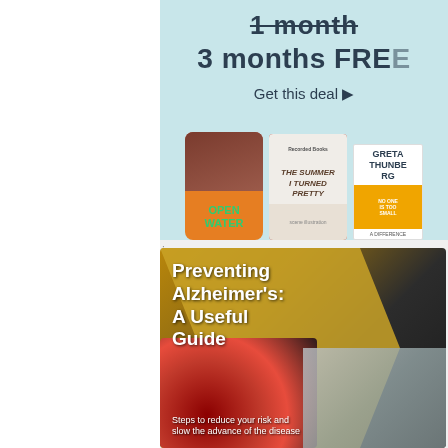[Figure (screenshot): Amazon Audible promotional banner: '1 month' (strikethrough) '3 months FREE' with 'Get this deal ▶' link and three audiobook covers: Open Water, The Summer I Turned Pretty, and Greta Thunberg book]
[Figure (screenshot): Book cover for 'Preventing Alzheimer's: A Useful Guide' with subtitle 'Steps to reduce your risk and slow the advance of the disease'. Cover shows a gold arrow/chevron shape, berries, and a puzzle.]